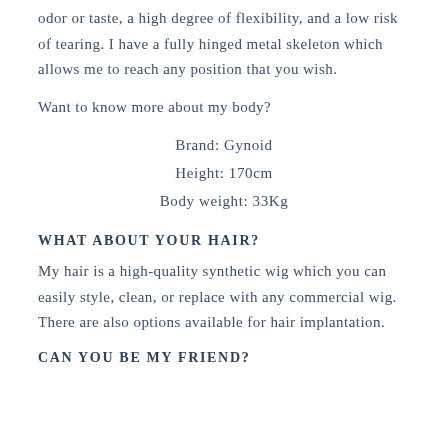odor or taste, a high degree of flexibility, and a low risk of tearing. I have a fully hinged metal skeleton which allows me to reach any position that you wish.
Want to know more about my body?
Brand: Gynoid
Height: 170cm
Body weight: 33Kg
WHAT ABOUT YOUR HAIR?
My hair is a high-quality synthetic wig which you can easily style, clean, or replace with any commercial wig. There are also options available for hair implantation.
CAN YOU BE MY FRIEND?